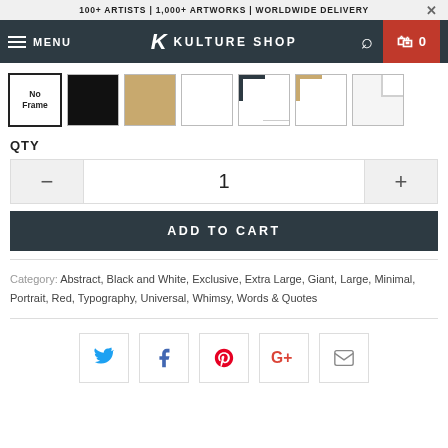100+ ARTISTS | 1,000+ ARTWORKS | WORLDWIDE DELIVERY
[Figure (screenshot): Kulture Shop navigation bar with hamburger menu, logo, search icon and cart button showing 0 items]
[Figure (screenshot): Frame selection swatches: No Frame (selected), black, tan/wood, white, dark corner, tan corner, white corner]
QTY
[Figure (screenshot): Quantity selector showing minus button, value 1, plus button]
ADD TO CART
Category: Abstract, Black and White, Exclusive, Extra Large, Giant, Large, Minimal, Portrait, Red, Typography, Universal, Whimsy, Words & Quotes
[Figure (screenshot): Social sharing buttons: Twitter, Facebook, Pinterest, Google+, Email]